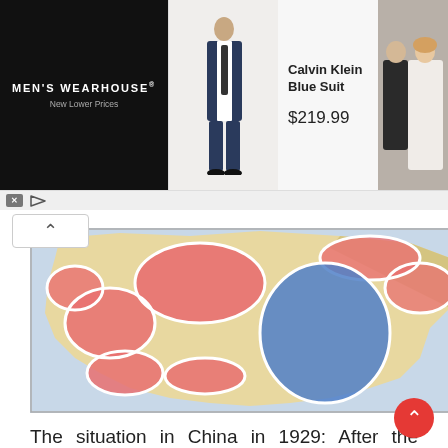[Figure (screenshot): Men's Wearhouse advertisement banner showing a Calvin Klein Blue Suit for $219.99, with a person in a suit on the left and a couple at a wedding on the right]
[Figure (map): Map of China in 1929 showing KMT control (blue) over east and central China and warlord regions (red/pink) over the rest of China proper and Manchuria]
The situation in China in 1929: After the Northern Expedition, the KMT had direct control over east and central China, while the rest of China proper as well as Manchuria was under the control of warlords loyal to the Nationalist government.
[Figure (map): Partial map visible at bottom of page showing geographic region of China]